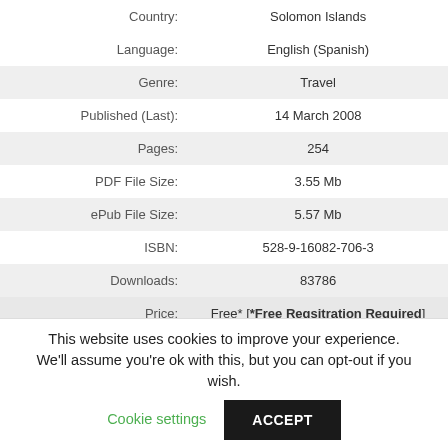| Field | Value |
| --- | --- |
| Country: | Solomon Islands |
| Language: | English (Spanish) |
| Genre: | Travel |
| Published (Last): | 14 March 2008 |
| Pages: | 254 |
| PDF File Size: | 3.55 Mb |
| ePub File Size: | 5.57 Mb |
| ISBN: | 528-9-16082-706-3 |
| Downloads: | 83786 |
| Price: | Free* [*Free Regsitration Required] |
This website uses cookies to improve your experience. We'll assume you're ok with this, but you can opt-out if you wish. Cookie settings ACCEPT